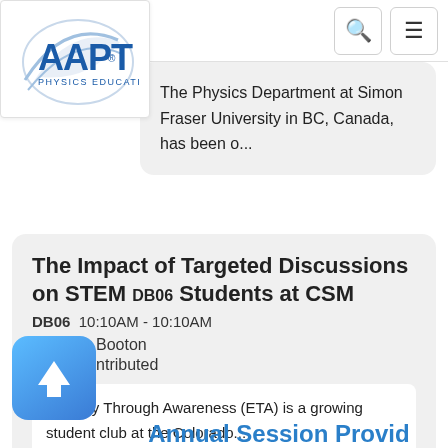[Figure (logo): AAPT Physics Education logo — blue text AAPT with swoosh graphic, subtitle PHYSICS EDUCATION]
The Physics Department at Simon Fraser University in BC, Canada, has been o...
The Impact of Targeted Discussions on STEM Students at CSM
DB06  10:10AM - 10:10AM
by Libby Booton
Type: Contributed
Equality Through Awareness (ETA) is a growing student club at the Colorado...
[Figure (illustration): Blue rounded square button with white upward arrow icon]
Annual Session Provid...